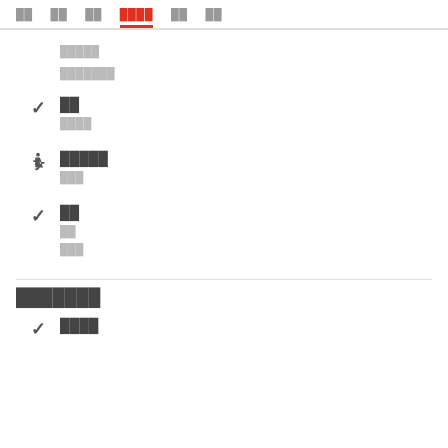██ ██ ██ ████ ██ ██
█████
███████
██
████
█████
███
██
██
███
███████
████